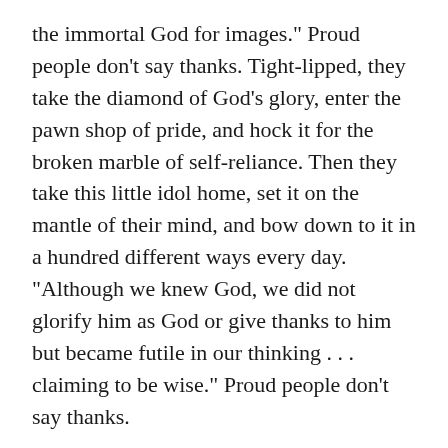the immortal God for images." Proud people don't say thanks. Tight-lipped, they take the diamond of God's glory, enter the pawn shop of pride, and hock it for the broken marble of self-reliance. Then they take this little idol home, set it on the mantle of their mind, and bow down to it in a hundred different ways every day. "Although we knew God, we did not glorify him as God or give thanks to him but became futile in our thinking . . . claiming to be wise." Proud people don't say thanks.
No One Ought to Point a Pious Finger
Now we must warn ourselves not to point a pious finger here as though Madalyn Murray O'Hair or Hugh Hefner or some pagan tribe were the only